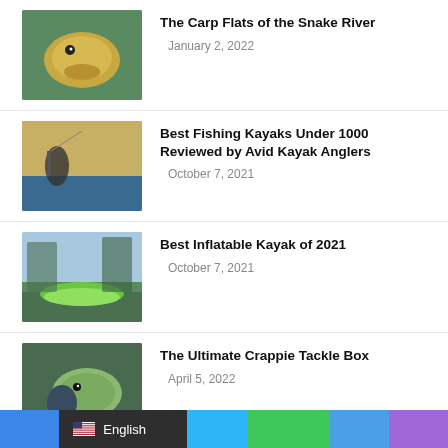[Figure (photo): Close-up photo of a carp fish being held]
The Carp Flats of the Snake River
January 2, 2022
[Figure (photo): Person fishing from a kayak at sunset on a lake]
Best Fishing Kayaks Under 1000 Reviewed by Avid Kayak Anglers
October 7, 2021
[Figure (photo): Inflatable green kayak on rocky shore near water]
Best Inflatable Kayak of 2021
October 7, 2021
[Figure (photo): Person holding a crappie fish]
The Ultimate Crappie Tackle Box
April 5, 2022
Cheburashka Rig – Fishing with the Cheburashka rig
April 4, 2022